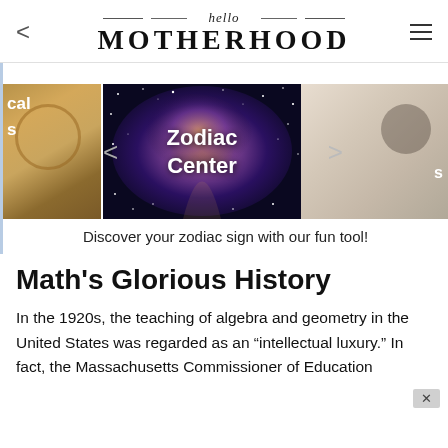hello MOTHERHOOD
[Figure (screenshot): Carousel showing three image panels: left golden/tan texture with partial text 'cal s', center space/galaxy image labeled 'Zodiac Center', right light tan image with partial text 's'. Navigation arrows on left and right.]
Discover your zodiac sign with our fun tool!
Math's Glorious History
In the 1920s, the teaching of algebra and geometry in the United States was regarded as an “intellectual luxury.” In fact, the Massachusetts Commissioner of Education